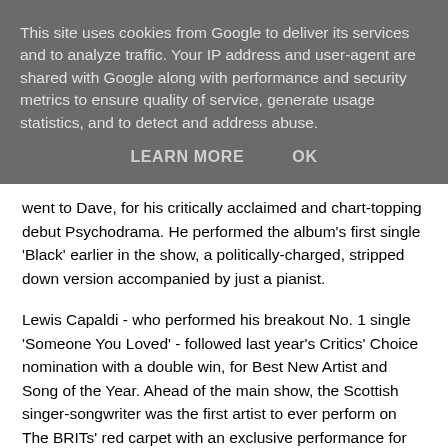This site uses cookies from Google to deliver its services and to analyze traffic. Your IP address and user-agent are shared with Google along with performance and security metrics to ensure quality of service, generate usage statistics, and to detect and address abuse.
LEARN MORE   OK
went to Dave, for his critically acclaimed and chart-topping debut Psychodrama. He performed the album's first single 'Black' earlier in the show, a politically-charged, stripped down version accompanied by just a pianist.
Lewis Capaldi - who performed his breakout No. 1 single 'Someone You Loved' - followed last year's Critics' Choice nomination with a double win, for Best New Artist and Song of the Year. Ahead of the main show, the Scottish singer-songwriter was the first artist to ever perform on The BRITs' red carpet with an exclusive performance for the ITV2 Red Carpet show broadcast and as part of TikTok's exclusive red carpet live-stream.